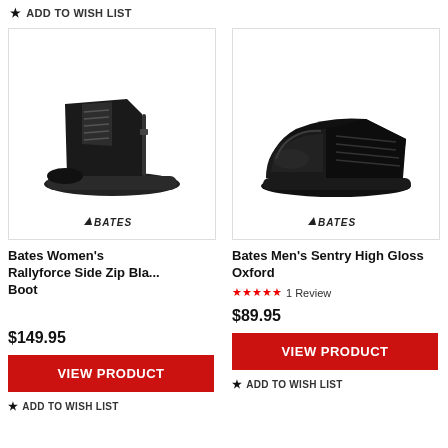★ ADD TO WISH LIST
[Figure (photo): Black tactical boot with side zipper, lace-up, Bates brand logo at bottom]
Bates Women's Rallyforce Side Zip Bla... Boot
$149.95
VIEW PRODUCT
★ ADD TO WISH LIST
[Figure (photo): Black high gloss oxford dress shoe, lace-up, Bates brand logo at bottom]
Bates Men's Sentry High Gloss Oxford
★★★★★ 1 Review
$89.95
VIEW PRODUCT
★ ADD TO WISH LIST